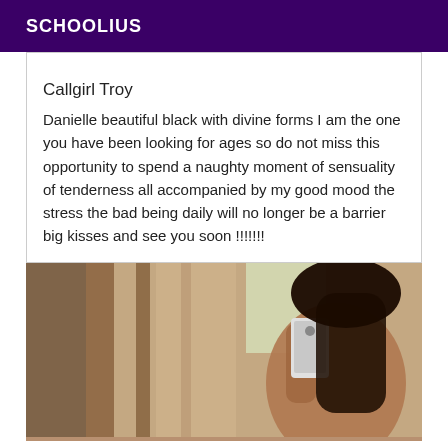SCHOOLIUS
Callgirl Troy
Danielle beautiful black with divine forms I am the one you have been looking for ages so do not miss this opportunity to spend a naughty moment of sensuality of tenderness all accompanied by my good mood the stress the bad being daily will no longer be a barrier big kisses and see you soon !!!!!!!
[Figure (photo): Person taking a mirror selfie with a smartphone, long dark hair, indoor setting with wooden furniture visible in background]